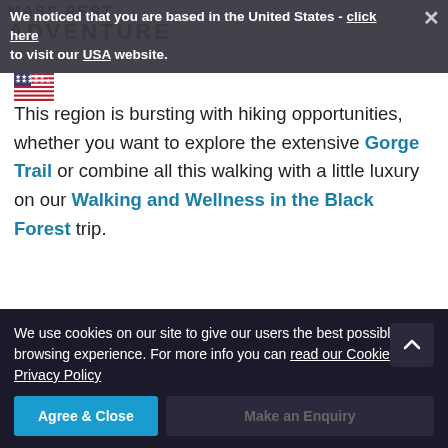We noticed that you are based in the United States - click here to visit our USA website.
[Figure (illustration): US flag emoji]
This region is bursting with hiking opportunities, whether you want to explore the extensive Gorge Trail or combine all this walking with a little luxury on our Walking and Wellness in the Black Forest trip.
We use cookies on our site to give our users the best possible browsing experience. For more info you can read our Cookies and Privacy Policy